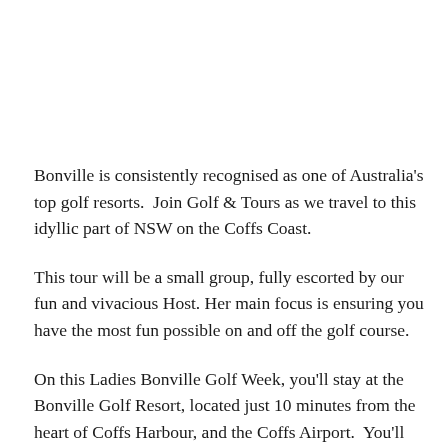Bonville is consistently recognised as one of Australia's top golf resorts.  Join Golf & Tours as we travel to this idyllic part of NSW on the Coffs Coast.
This tour will be a small group, fully escorted by our fun and vivacious Host. Her main focus is ensuring you have the most fun possible on and off the golf course.
On this Ladies Bonville Golf Week, you'll stay at the Bonville Golf Resort, located just 10 minutes from the heart of Coffs Harbour, and the Coffs Airport.  You'll play 4 rounds of golf,